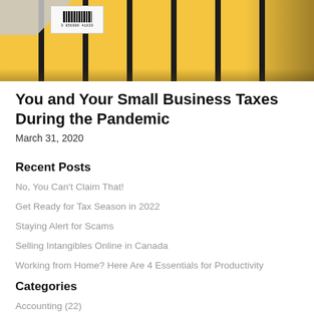[Figure (photo): Photo of yellow file/storage boxes with barcodes lined up on a shelf, viewed from the side at an angle]
You and Your Small Business Taxes During the Pandemic
March 31, 2020
Recent Posts
No, You Can't Claim That!
Get Ready for Tax Season in 2022
Staying Alert for Scams
Selling Intangibles Online in Canada
Working from Home? Here Are 4 Essentials for Productivity
Categories
Accounting (22)